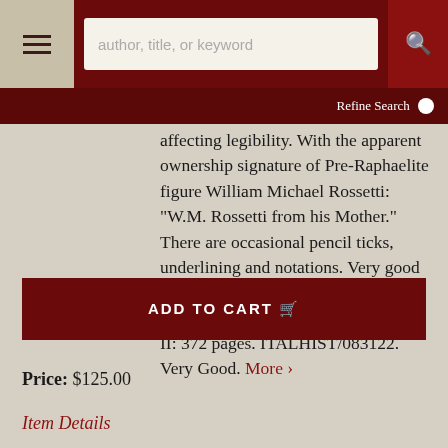author, title, or keyword | Refine Search
affecting legibility. With the apparent ownership signature of Pre-Raphaelite figure William Michael Rossetti: "W.M. Rossetti from his Mother." There are occasional pencil ticks, underlining and notations. Very good condition. Measures 5.50 x 8.25 inches. Volume I: 348 pages: Volume II: 372 pages. ITALHIST/083122. Very Good. More >
ADD TO CART
Price: $125.00
Item Details